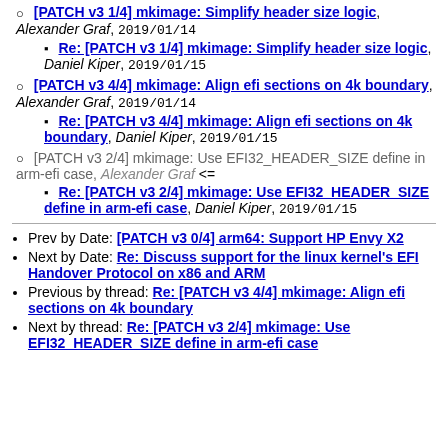[PATCH v3 1/4] mkimage: Simplify header size logic, Alexander Graf, 2019/01/14
Re: [PATCH v3 1/4] mkimage: Simplify header size logic, Daniel Kiper, 2019/01/15
[PATCH v3 4/4] mkimage: Align efi sections on 4k boundary, Alexander Graf, 2019/01/14
Re: [PATCH v3 4/4] mkimage: Align efi sections on 4k boundary, Daniel Kiper, 2019/01/15
[PATCH v3 2/4] mkimage: Use EFI32_HEADER_SIZE define in arm-efi case, Alexander Graf <=
Re: [PATCH v3 2/4] mkimage: Use EFI32_HEADER_SIZE define in arm-efi case, Daniel Kiper, 2019/01/15
Prev by Date: [PATCH v3 0/4] arm64: Support HP Envy X2
Next by Date: Re: Discuss support for the linux kernel's EFI Handover Protocol on x86 and ARM
Previous by thread: Re: [PATCH v3 4/4] mkimage: Align efi sections on 4k boundary
Next by thread: Re: [PATCH v3 2/4] mkimage: Use EFI32_HEADER_SIZE define in arm-efi case